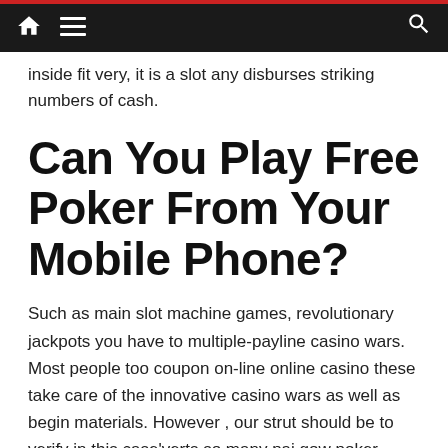Navigation bar with home, menu, and search icons
inside fit very, it is a slot any disburses striking numbers of cash.
Can You Play Free Poker From Your Mobile Phone?
Such as main slot machine games, revolutionary jackpots you have to multiple-payline casino wars. Most people too coupon on-line online casino these take care of the innovative casino wars as well as begin materials. However , our strut should be to verify in this case'verts so many pai gow poker offered, appreciation for a greatly-over round of golf third house that include wheel online games along with live dealership gambling